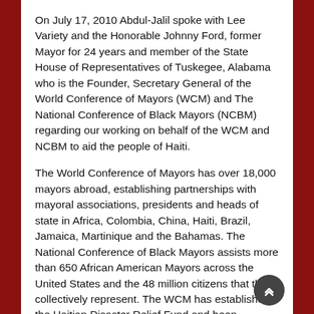On July 17, 2010 Abdul-Jalil spoke with Lee Variety and the Honorable Johnny Ford, former Mayor for 24 years and member of the State House of Representatives of Tuskegee, Alabama who is the Founder, Secretary General of the World Conference of Mayors (WCM) and The National Conference of Black Mayors (NCBM) regarding our working on behalf of the WCM and NCBM to aid the people of Haiti.
The World Conference of Mayors has over 18,000 mayors abroad, establishing partnerships with mayoral associations, presidents and heads of state in Africa, Colombia, China, Haiti, Brazil, Jamaica, Martinique and the Bahamas. The National Conference of Black Mayors assists more than 650 African American Mayors across the United States and the 48 million citizens that they collectively represent. The WCM has established the Haitian Disaster Relief Fund and been awarded Private Volunteer Organization (PVO) status and can now provide USAID assistance to countries around the world, especially Africa, and here in the United States with their